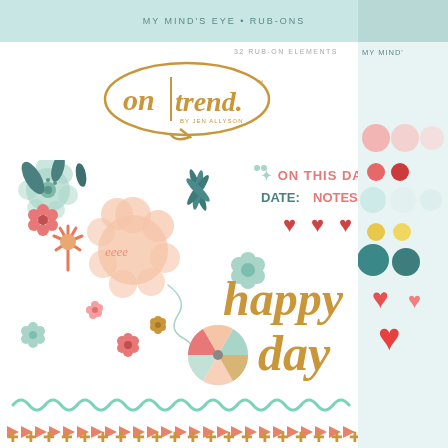MY MIND'S EYE • RUB-ONS
32 RUB-ON ELEMENTS
[Figure (logo): On Trend by Jen Allyson logo in gold script inside a speech bubble outline]
[Figure (illustration): Scrapbooking rub-on sheet showing floral elements in mint/coral/teal, text elements 'ON THIS DAY: DATE: NOTES:', red hearts, 'happy day' in gold script, a pinwheel circle, mint swirl border, coral arrow border, gold plus sign border]
[Figure (illustration): Right side strip showing decorative enamel dots in pink, coral, light blue, yellow, teal, and heart shapes in coral/pink]